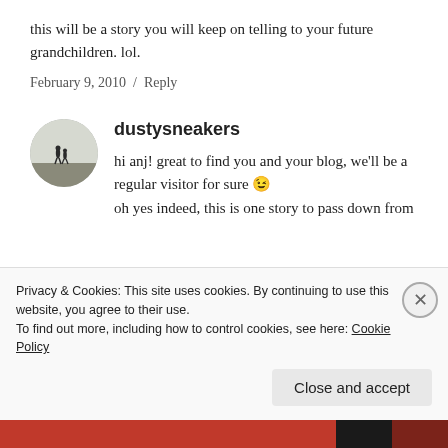this will be a story you will keep on telling to your future grandchildren. lol.
February 9, 2010  /  Reply
[Figure (photo): Circular avatar showing two silhouetted figures on a misty background]
dustysneakers
hi anj! great to find you and your blog, we'll be a regular visitor for sure 😉
oh yes indeed, this is one story to pass down from
Privacy & Cookies: This site uses cookies. By continuing to use this website, you agree to their use.
To find out more, including how to control cookies, see here: Cookie Policy
Close and accept